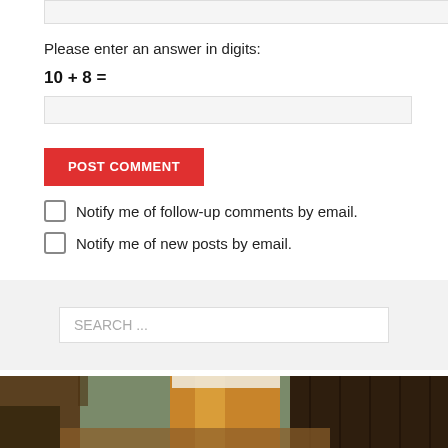Please enter an answer in digits:
POST COMMENT
Notify me of follow-up comments by email.
Notify me of new posts by email.
SEARCH ...
[Figure (photo): A glass of amber beer on a wooden table with leather furniture in the background, indoor bar setting.]